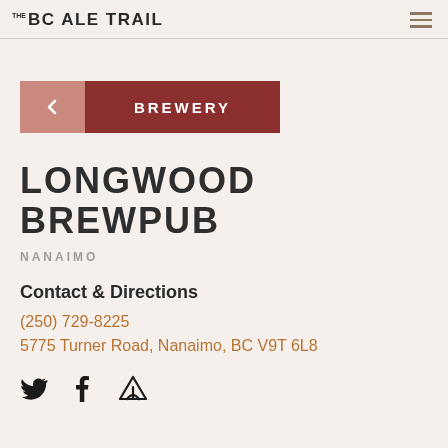THE BC ALE TRAIL
[Figure (other): Back navigation button with left chevron (pink/rose background) and BREWERY badge (dark red background, white text)]
LONGWOOD BREWPUB
NANAIMO
Contact & Directions
(250) 729-8225
5775 Turner Road, Nanaimo, BC V9T 6L8
[Figure (other): Social media icons: Twitter bird, Facebook f, and a tent/campsite icon]